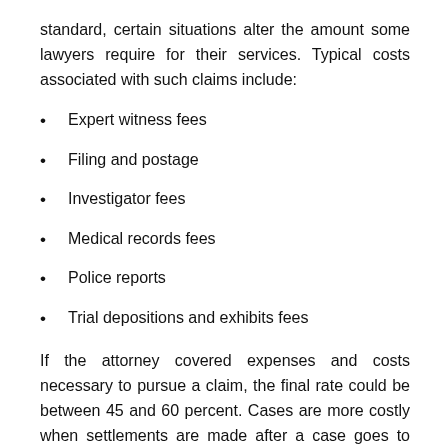standard, certain situations alter the amount some lawyers require for their services. Typical costs associated with such claims include:
Expert witness fees
Filing and postage
Investigator fees
Medical records fees
Police reports
Trial depositions and exhibits fees
If the attorney covered expenses and costs necessary to pursue a claim, the final rate could be between 45 and 60 percent. Cases are more costly when settlements are made after a case goes to trial. The longer it takes to settle, the